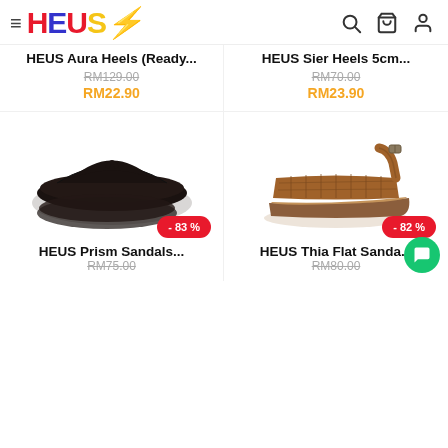HEUS - online shoe store header with logo and navigation icons
HEUS Aura Heels (Ready... RM129.00 RM22.90
HEUS Sier Heels 5cm... RM70.00 RM23.90
[Figure (photo): Dark brown/black flip flop sandals - HEUS Prism Sandals with -83% discount badge]
[Figure (photo): Brown woven strap flat sandals - HEUS Thia Flat Sandals with -82% discount badge]
HEUS Prism Sandals... RM75.00
HEUS Thia Flat Sanda... RM80.00